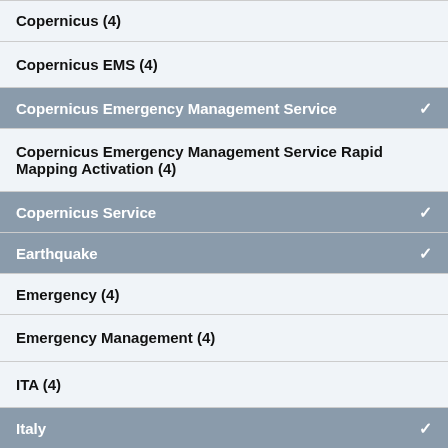Copernicus (4)
Copernicus EMS (4)
Copernicus Emergency Management Service ✓
Copernicus Emergency Management Service Rapid Mapping Activation (4)
Copernicus Service ✓
Earthquake ✓
Emergency (4)
Emergency Management (4)
ITA (4)
Italy ✓